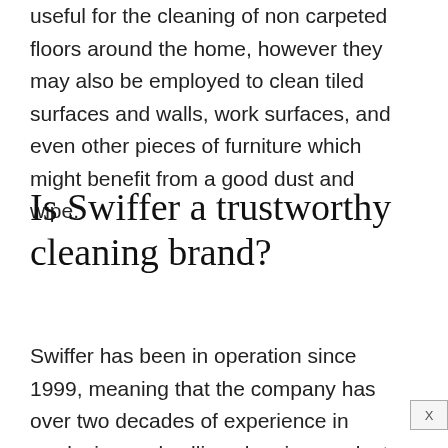useful for the cleaning of non carpeted floors around the home, however they may also be employed to clean tiled surfaces and walls, work surfaces, and even other pieces of furniture which might benefit from a good dust and wipe.
Is Swiffer a trustworthy cleaning brand?
Swiffer has been in operation since 1999, meaning that the company has over two decades of experience in producing and selling cleaning products. They are also an American brand, which may or may not influence your opinions as to the